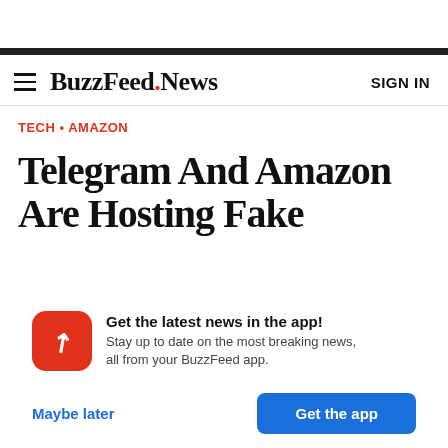BuzzFeed.News
TECH • AMAZON
Telegram And Amazon Are Hosting Fake
Get the latest news in the app! Stay up to date on the most breaking news, all from your BuzzFeed app.
Maybe later
Get the app